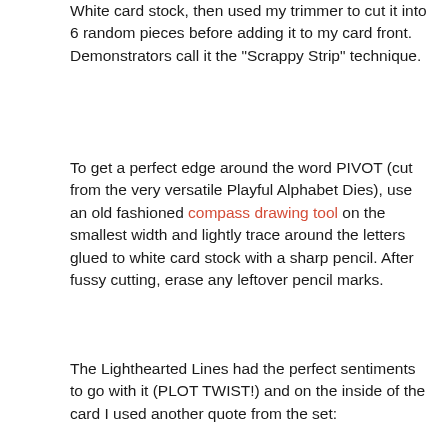White card stock, then used my trimmer to cut it into 6 random pieces before adding it to my card front. Demonstrators call it the “Scrappy Strip” technique.
To get a perfect edge around the word PIVOT (cut from the very versatile Playful Alphabet Dies), use an old fashioned compass drawing tool on the smallest width and lightly trace around the letters glued to white card stock with a sharp pencil. After fussy cutting, erase any leftover pencil marks.
The Lighthearted Lines had the perfect sentiments to go with it (PLOT TWIST!) and on the inside of the card I used another quote from the set:
[Figure (photo): A photo showing an open pink card/envelope on a wooden surface, with a white card featuring a green border. The white card contains text in pink/red that reads 'EVERYTHING IS FIGURE-OUTABLE'.]